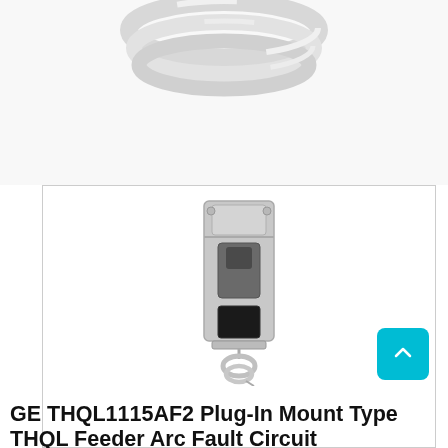[Figure (photo): Top portion of a coiled white electrical cord/cable product, partially cut off at the top of the page]
[Figure (photo): GE THQL1115AF2 Plug-In Mount Type THQL Feeder Arc Fault Circuit Interrupter breaker device, gray plastic rectangular unit with a toggle switch and a small white coiled pigtail wire at the bottom, shown against white background inside a bordered card]
GE THQL1115AF2 Plug-In Mount Type THQL Feeder Arc Fault Circuit